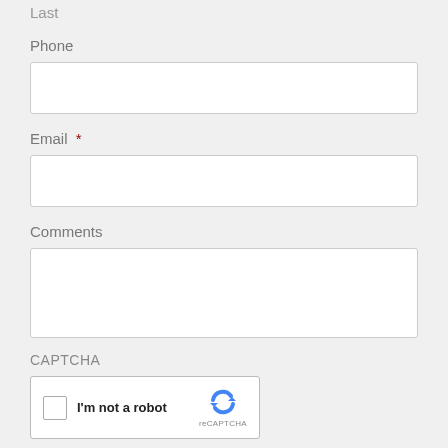Last
Phone
Email *
Comments
CAPTCHA
[Figure (other): reCAPTCHA widget with checkbox labeled I'm not a robot and reCAPTCHA logo]